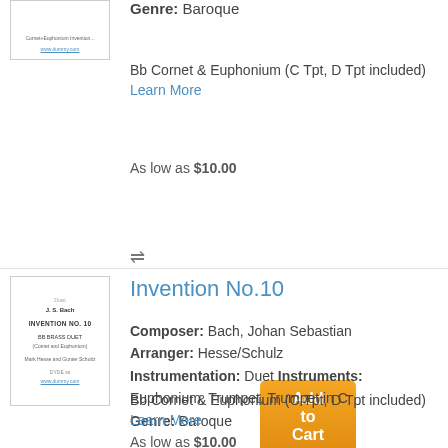[Figure (illustration): Small thumbnail of sheet music cover at top left]
Genre: Baroque
Bb Cornet & Euphonium (C Tpt, D Tpt included) Learn More
As low as $10.00
Add to Cart
⇌
[Figure (illustration): Thumbnail of sheet music cover for Invention No.10]
Invention No.10
Composer: Bach, Johan Sebastian Arranger: Hesse/Schulz Instrumentation: Duet Instruments: Euphonium, Trumpet, Trumpet in C Genre: Baroque
Bb Cornet & Euphonium (C Tpt, D Tpt included) Learn More
As low as $10.00